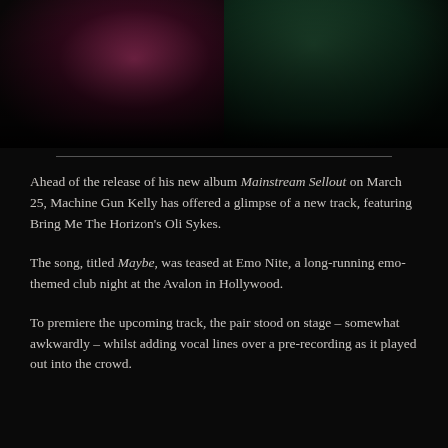[Figure (photo): Two concert performance photos side by side against dark background — left shows a performer with pink/magenta stage lighting, right shows a performer with green/teal stage lighting]
Ahead of the release of his new album Mainstream Sellout on March 25, Machine Gun Kelly has offered a glimpse of a new track, featuring Bring Me The Horizon's Oli Sykes.
The song, titled Maybe, was teased at Emo Nite, a long-running emo-themed club night at the Avalon in Hollywood.
To premiere the upcoming track, the pair stood on stage – somewhat awkwardly – whilst adding vocal lines over a pre-recording as it played out into the crowd.